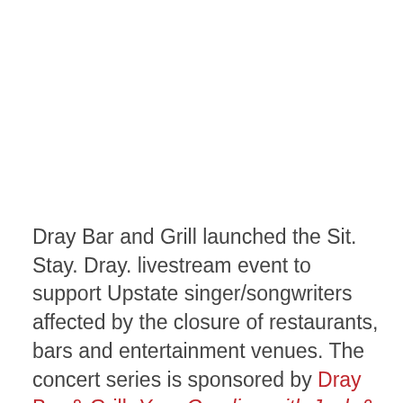Dray Bar and Grill launched the Sit. Stay. Dray. livestream event to support Upstate singer/songwriters affected by the closure of restaurants, bars and entertainment venues. The concert series is sponsored by Dray Bar & Grill, Your Carolina with Jack & Megan and Livin' Upstate.